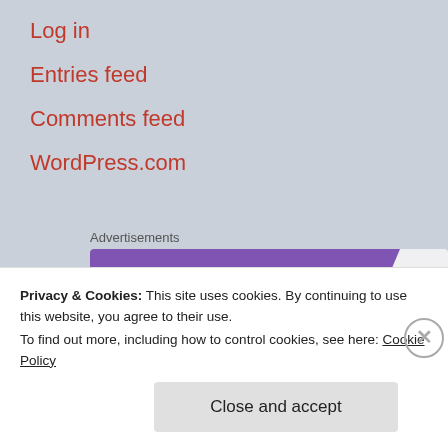Log in
Entries feed
Comments feed
WordPress.com
Advertisements
[Figure (logo): WooCommerce advertisement banner with purple background and white WooCommerce logo with speech bubble icon, and a teal triangle in the lower left corner on a light grey/white background.]
Privacy & Cookies: This site uses cookies. By continuing to use this website, you agree to their use.
To find out more, including how to control cookies, see here: Cookie Policy
Close and accept